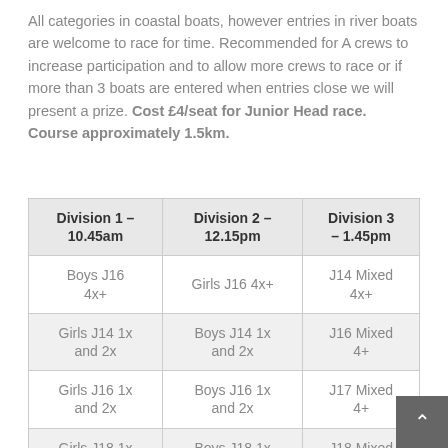All categories in coastal boats, however entries in river boats are welcome to race for time. Recommended for A crews to increase participation and to allow more crews to race or if more than 3 boats are entered when entries close we will present a prize. Cost £4/seat for Junior Head race. Course approximately 1.5km.
| Division 1 – 10.45am | Division 2 – 12.15pm | Division 3 – 1.45pm |
| --- | --- | --- |
| Boys J16 4x+ | Girls J16 4x+ | J14 Mixed 4x+ |
| Girls J14 1x and 2x | Boys J14 1x and 2x | J16 Mixed 4+ |
| Girls J16 1x and 2x | Boys J16 1x and 2x | J17 Mixed 4+ |
| Girls J18 1x and 2x | Boys J18 1x and 2x | J18 Mixed 4+ |